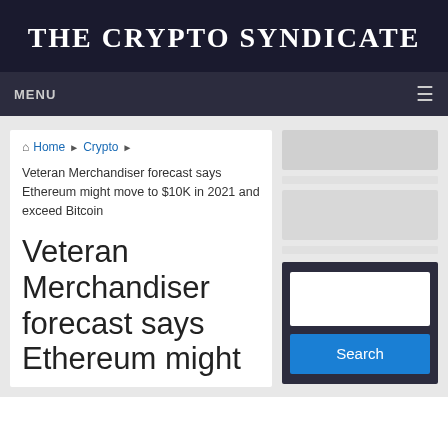THE CRYPTO SYNDICATE
MENU
Home › Crypto ›
Veteran Merchandiser forecast says Ethereum might move to $10K in 2021 and exceed Bitcoin
Veteran Merchandiser forecast says Ethereum might